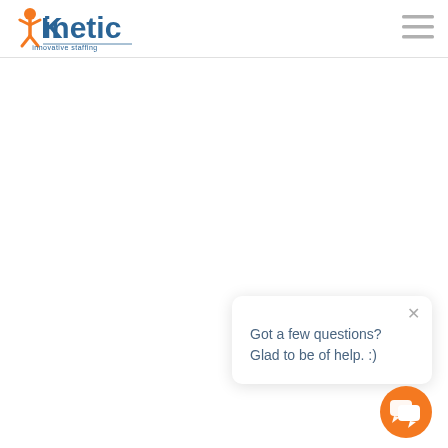[Figure (logo): Kinetic Innovative Staffing logo with orange person icon and blue text]
[Figure (other): Hamburger menu icon with three horizontal grey lines]
Got a few questions? Glad to be of help. :)
[Figure (other): Orange circular chat button with white speech bubble icon]